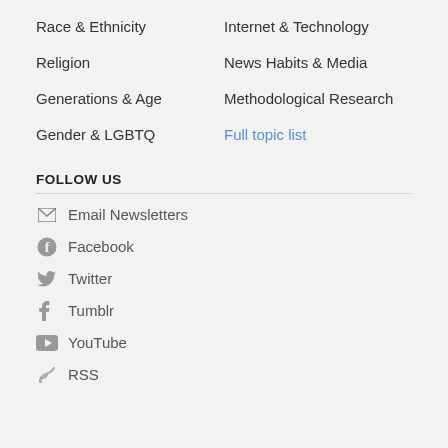Race & Ethnicity
Internet & Technology
Religion
News Habits & Media
Generations & Age
Methodological Research
Gender & LGBTQ
Full topic list
FOLLOW US
Email Newsletters
Facebook
Twitter
Tumblr
YouTube
RSS